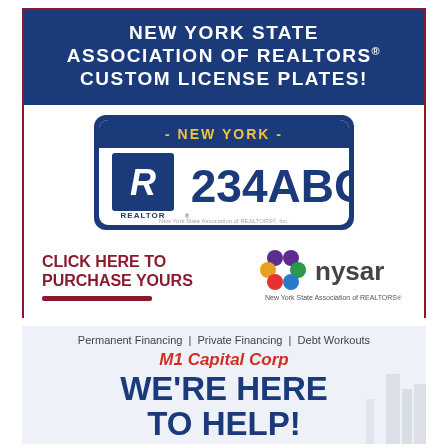[Figure (infographic): New York State Association of REALTORS custom license plates advertisement showing a New York license plate with REALTOR logo and '234ABC', with 'CLICK HERE TO PURCHASE YOURS' text and NYSAR logo]
[Figure (infographic): M1 Capital Corp advertisement with text 'Permanent Financing | Private Financing | Debt Workouts', 'M1 Capital Corp', 'WE'RE HERE TO HELP!' and a city skyline background]